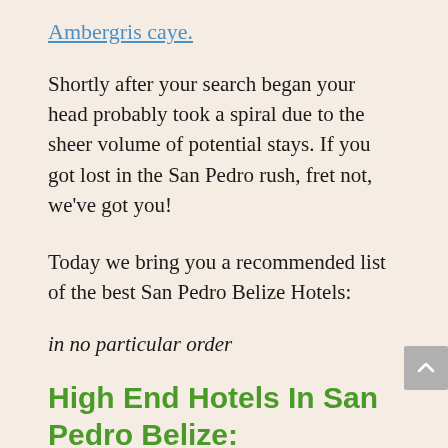Ambergris caye.
Shortly after your search began your head probably took a spiral due to the sheer volume of potential stays. If you got lost in the San Pedro rush, fret not, we've got you!
Today we bring you a recommended list of the best San Pedro Belize Hotels:
in no particular order
High End Hotels In San Pedro Belize:
Las Terrazas